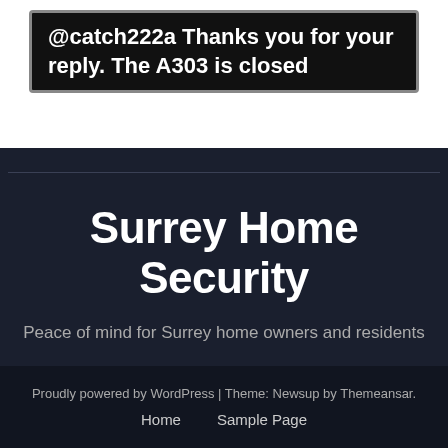[Figure (screenshot): Dark tweet/post box showing text '@catch222a Thanks you for your reply. The A303 is closed']
Surrey Home Security
Peace of mind for Surrey home owners and residents
Proudly powered by WordPress | Theme: Newsup by Themeansar.
Home    Sample Page